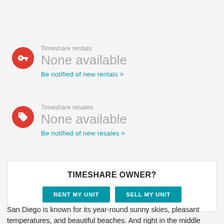Timeshare rentals
None available
Be notified of new rentals >
Timeshare resales
None available
Be notified of new resales >
TIMESHARE OWNER?
RENT MY UNIT | SELL MY UNIT
San Diego is known for its year-round sunny skies, pleasant temperatures, and beautiful beaches. And right in the middle